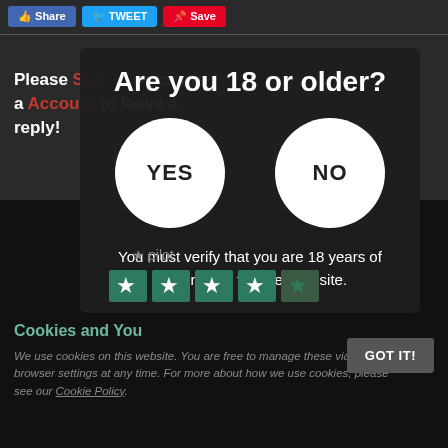Share | Tweet | Save
Please Sign In or create a Account to leave a reply!
Are you 18 or older?
YES
NO
You must verify that you are 18 years of age or older to enter this site.
[Figure (logo): Trustpilot logo with 5 green stars rating]
Cookies and You
We use cookies on this website. You are free to manage these via your browser settings at any time. For more about how we use cookies, please see our Cookie Policy.
GOT IT!